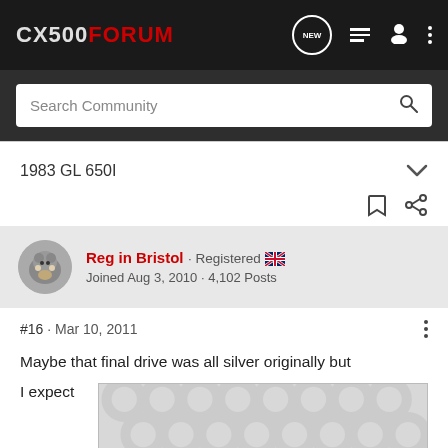CX500FORUM
Search Community
1983 GL 650I
Reg in Bristol · Registered · Joined Aug 3, 2010 · 4,102 Posts
#16 · Mar 10, 2011
Maybe that final drive was all silver originally but
I expect
[Figure (photo): Partially visible image with decorative circular pattern placeholder]
Not me